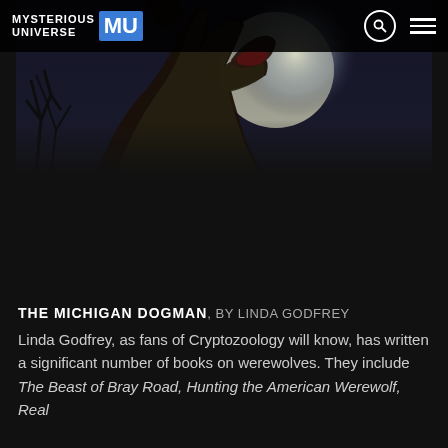MYSTERIOUS UNIVERSE MU
[Figure (illustration): Dark fantasy illustration of a werewolf-like creature with claws raised, howling at a full moon, with bare twisted tree branches in background. Dark atmospheric painting style.]
THE MICHIGAN DOGMAN, BY LINDA GODFREY
Linda Godfrey, as fans of Cryptozoology will know, has written a significant number of books on werewolves. They include The Beast of Bray Road, Hunting the American Werewolf, Real